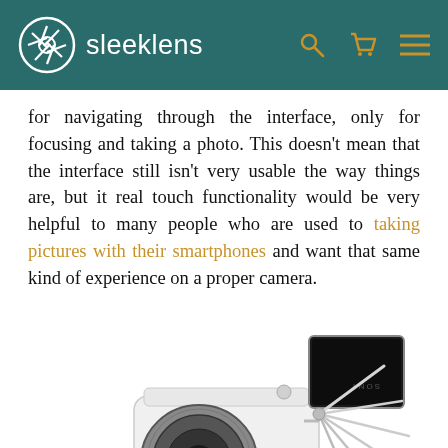sleeklens
for navigating through the interface, only for focusing and taking a photo. This doesn't mean that the interface still isn't very usable the way things are, but it real touch functionality would be very helpful to many people who are used to taking pictures with their smartphones and want that same kind of experience on a proper camera.
[Figure (photo): Sony mirrorless camera with white body, showing a flipping LCD screen tilted open at multiple angles, with a silver/black kit lens attached.]